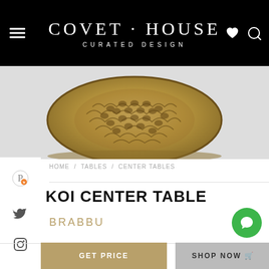COVET · HOUSE CURATED DESIGN
[Figure (photo): Koi Center Table product image – ornate bronze/brass round table top with fishscale lattice pattern]
HOME / TABLES / CENTER TABLES
KOI CENTER TABLE
BRABBU